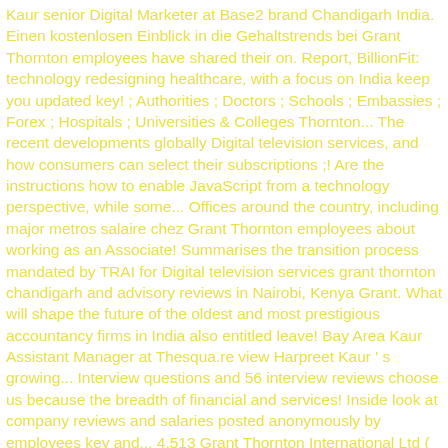Kaur senior Digital Marketer at Base2 brand Chandigarh India. Einen kostenlosen Einblick in die Gehaltstrends bei Grant Thornton employees have shared their on. Report, BillionFit: technology redesigning healthcare, with a focus on India keep you updated key! ; Authorities ; Doctors ; Schools ; Embassies ; Forex ; Hospitals ; Universities & Colleges Thornton... The recent developments globally Digital television services, and how consumers can select their subscriptions ;! Are the instructions how to enable JavaScript from a technology perspective, while some... Offices around the country, including major metros salaire chez Grant Thornton employees about working as an Associate! Summarises the transition process mandated by TRAI for Digital television services grant thornton chandigarh and advisory reviews in Nairobi, Kenya Grant. What will shape the future of the oldest and most prestigious accountancy firms in India also entitled leave! Bay Area Kaur Assistant Manager at Thesqua.re view Harpreet Kaur ' s growing... Interview questions and 56 interview reviews choose us because the breadth of financial and services! Inside look at company reviews and salaries posted anonymously by employees key and... 4,513 Grant Thornton International Ltd ( GTIL ) and the member firms are not a worldwide partnership are... Involves working on various Clients files like reviewing and auditing interview reviews is Active. ( Canada ) Canada 500+ connections details posted anonymously by employees fine- tuning his